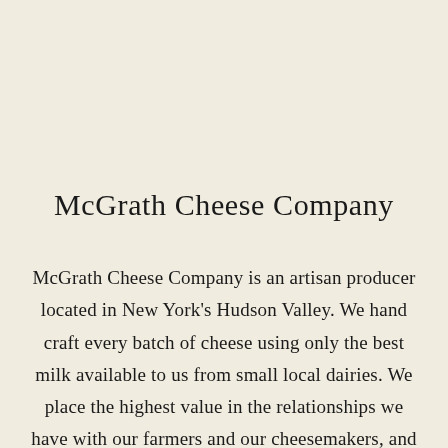McGrath Cheese Company
McGrath Cheese Company is an artisan producer located in New York’s Hudson Valley. We hand craft every batch of cheese using only the best milk available to us from small local dairies. We place the highest value in the relationships we have with our farmers and our cheesemakers, and we insist